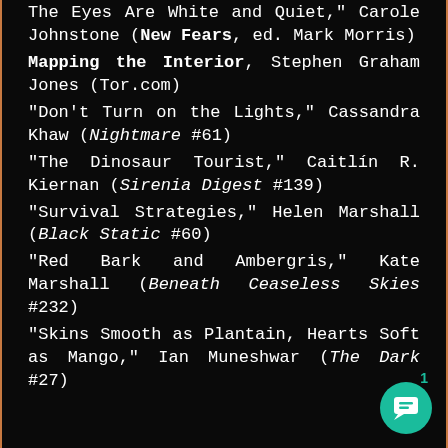The Eyes Are White and Quiet," Carole Johnstone (New Fears, ed. Mark Morris)
Mapping the Interior, Stephen Graham Jones (Tor.com)
"Don’t Turn on the Lights," Cassandra Khaw (Nightmare #61)
"The Dinosaur Tourist," Caitlín R. Kiernan (Sirenia Digest #139)
"Survival Strategies," Helen Marshall (Black Static #60)
"Red Bark and Ambergris," Kate Marshall (Beneath Ceaseless Skies #232)
"Skins Smooth as Plantain, Hearts Soft as Mango," Ian Muneshwar (The Dark #27)